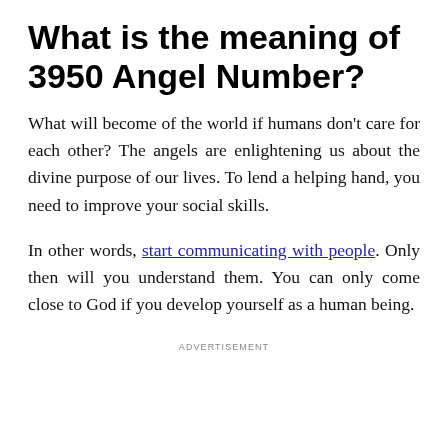What is the meaning of 3950 Angel Number?
What will become of the world if humans don’t care for each other? The angels are enlightening us about the divine purpose of our lives. To lend a helping hand, you need to improve your social skills.
In other words, start communicating with people. Only then will you understand them. You can only come close to God if you develop yourself as a human being.
ADVERTISEMENT